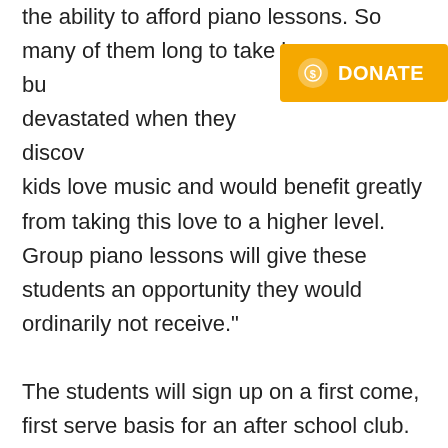the ability to afford piano lessons. So many of them long to take lessons, bu[t are] devastated when they discov[er that] kids love music and would benefit greatly from taking this love to a higher level. Group piano lessons will give these students an opportunity they would ordinarily not receive."

The students will sign up on a first come, first serve basis for an after school club. This club will rotate quarterly to accommodate as many students as possible. The students will each have their own keyboard to practice on during the clubs with headphones so as to not interrupt other students while practicing. As the students learn and perform a song, either for the teacher